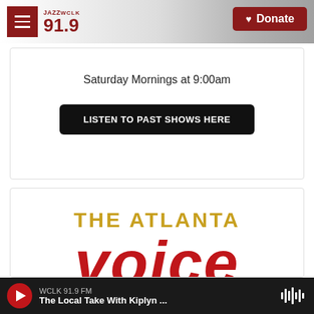JAZZ WCLK 91.9 — Donate
Saturday Mornings at 9:00am
LISTEN TO PAST SHOWS HERE
[Figure (logo): The Atlanta Voice logo — 'THE ATLANTA' in gold/yellow bold letters and 'VOICE' in large red bold italic letters]
WCLK 91.9 FM — The Local Take With Kiplyn ...